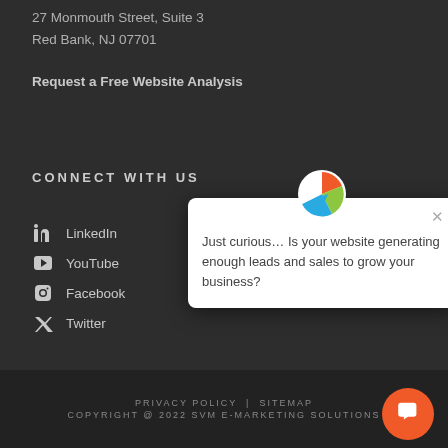27 Monmouth Street, Suite 3
Red Bank, NJ 07701
Request a Free Website Analysis
CONNECT WITH US
LinkedIn
YouTube
Facebook
Twitter
[Figure (other): Chat popup widget with logo and message: Just curious... Is your website generating enough leads and sales to grow your business?]
[Figure (other): Orange circular chat bubble button in bottom right]
PRIVACY POLICY | SITEMAP COPYRIGHT @ 2022 SVM E-MARKETING SOLUTIONS